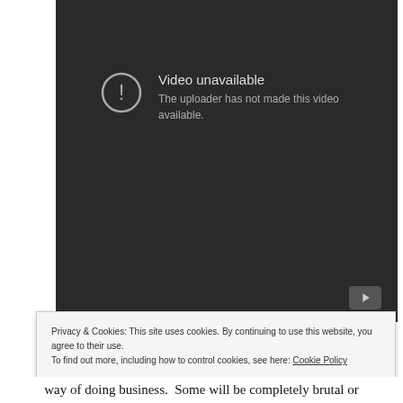[Figure (screenshot): YouTube embedded video player showing 'Video unavailable' error message. Dark background with circle-exclamation icon, text reads: 'Video unavailable. The uploader has not made this video available.' YouTube logo button in bottom-right corner.]
Privacy & Cookies: This site uses cookies. By continuing to use this website, you agree to their use. To find out more, including how to control cookies, see here: Cookie Policy
Close and accept
way of doing business.  Some will be completely brutal or